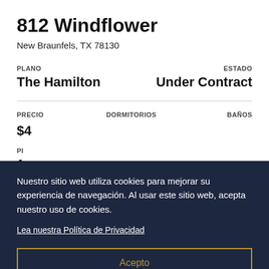812 Windflower
New Braunfels, TX 78130
PLANO: The Hamilton | ESTADO: Under Contract
PRECIO | DORMITORIOS | BAÑOS
$4... | 1
Nuestro sitio web utiliza cookies para mejorar su experiencia de navegación. Al usar este sitio web, acepta nuestro uso de cookies.
Lea nuestra Política de Privacidad
Acepto